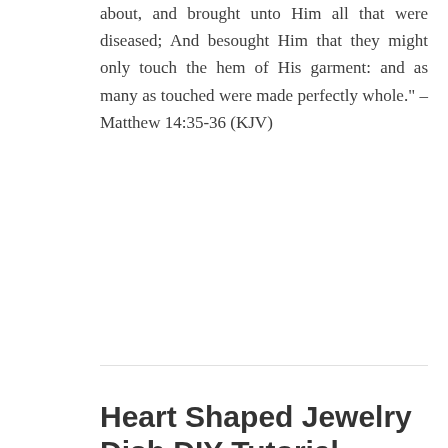about, and brought unto Him all that were diseased; And besought Him that they might only touch the hem of His garment: and as many as touched were made perfectly whole." – Matthew 14:35-36 (KJV)
Continue reading →
Heart Shaped Jewelry Dish DIY Tutorial
FEBRUARY 10, 2021 ~ 6 COMMENTS
[Figure (photo): Partially visible photo of a heart-shaped jewelry dish on a grey background]